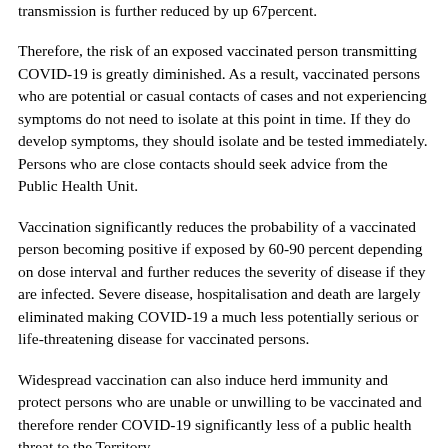transmission is further reduced by up 67percent.
Therefore, the risk of an exposed vaccinated person transmitting COVID-19 is greatly diminished.  As a result, vaccinated persons who are potential or casual contacts of cases and not experiencing symptoms do not need to isolate at this point in time.  If they do develop symptoms, they should isolate and be tested immediately.  Persons who are close contacts should seek advice from the Public Health Unit.
Vaccination significantly reduces the probability of a vaccinated person becoming positive if exposed by 60-90 percent depending on dose interval and further reduces the severity of disease if they are infected.  Severe disease, hospitalisation and death are largely eliminated making COVID-19 a much less potentially serious or life-threatening disease for vaccinated persons.
Widespread vaccination can also induce herd immunity and protect persons who are unable or unwilling to be vaccinated and therefore render COVID-19 significantly less of a public health threat to the Territory.